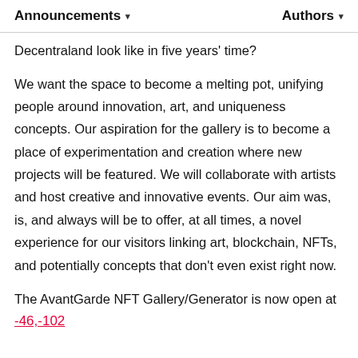Announcements ▾   Authors ▾
Decentraland look like in five years' time?
We want the space to become a melting pot, unifying people around innovation, art, and uniqueness concepts. Our aspiration for the gallery is to become a place of experimentation and creation where new projects will be featured. We will collaborate with artists and host creative and innovative events. Our aim was, is, and always will be to offer, at all times, a novel experience for our visitors linking art, blockchain, NFTs, and potentially concepts that don't even exist right now.
The AvantGarde NFT Gallery/Generator is now open at
-46,-102